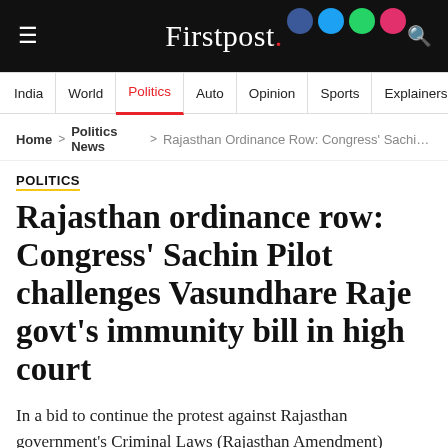≡  Firstpost.  🔍
India | World | Politics | Auto | Opinion | Sports | Explainers
Home > Politics News > Rajasthan Ordinance Row: Congress' Sachin Pilot Ch…
POLITICS
Rajasthan ordinance row: Congress' Sachin Pilot challenges Vasundhare Raje govt's immunity bill in high court
In a bid to continue the protest against Rajasthan government's Criminal Laws (Rajasthan Amendment) Ordinance 2017, state Congress president Sachin Pilot moved high court against the bill, media reports said on Thursday.